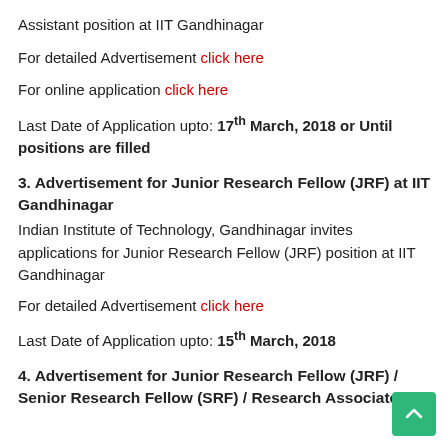Assistant position at IIT Gandhinagar
For detailed Advertisement click here
For online application click here
Last Date of Application upto: 17th March, 2018 or Until positions are filled
3. Advertisement for Junior Research Fellow (JRF) at IIT Gandhinagar
Indian Institute of Technology, Gandhinagar invites applications for Junior Research Fellow (JRF) position at IIT Gandhinagar
For detailed Advertisement click here
Last Date of Application upto: 15th March, 2018
4. Advertisement for Junior Research Fellow (JRF) / Senior Research Fellow (SRF) / Research Associate